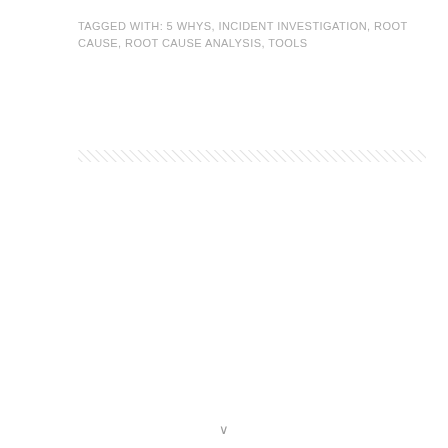TAGGED WITH: 5 WHYS, INCIDENT INVESTIGATION, ROOT CAUSE, ROOT CAUSE ANALYSIS, TOOLS
[Figure (other): Horizontal diagonal stripe divider pattern — gray hatching lines across the full width]
v